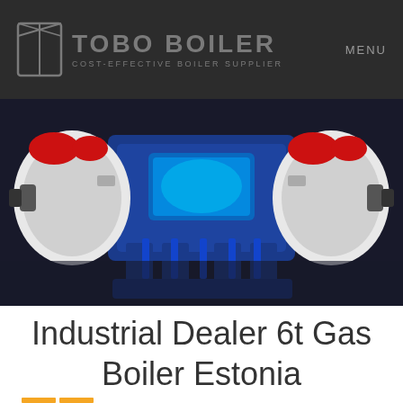TOBO BOILER — COST-EFFECTIVE BOILER SUPPLIER | MENU
[Figure (photo): Industrial gas boiler equipment photo — blue and white boiler unit with red accents, shown against a dark background]
Industrial Dealer 6t Gas Boiler Estonia